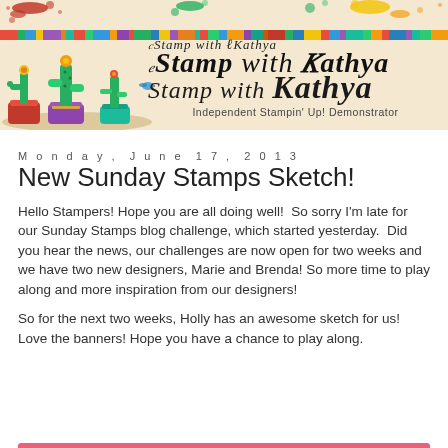[Figure (illustration): Blog header banner for 'Stamp with Kathya' featuring paint splatters, colorful stripes, illustrated cactus plants in colorful pots on left, and cursive/script blog title text on right. Subtitle reads 'Independent Stampin' Up! Demonstrator']
Monday, June 17, 2013
New Sunday Stamps Sketch!
Hello Stampers! Hope you are all doing well!  So sorry I'm late for our Sunday Stamps blog challenge, which started yesterday.  Did you hear the news, our challenges are now open for two weeks and we have two new designers, Marie and Brenda! So more time to play along and more inspiration from our designers!
So for the next two weeks, Holly has an awesome sketch for us!  Love the banners! Hope you have a chance to play along.